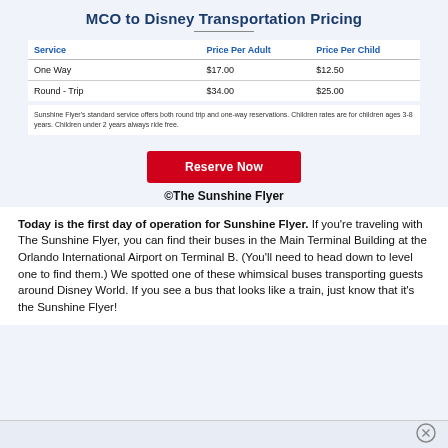MCO to Disney Transportation Pricing
| Service | Price Per Adult | Price Per Child |
| --- | --- | --- |
| One Way | $17.00 | $12.50 |
| Round - Trip | $34.00 | $25.00 |
Sunshine Flyer's standard service offers both round trip and one-way reservations. Children rates are for children ages 3-8 years. Children under 2 years always ride free.
Reserve Now
©The Sunshine Flyer
Today is the first day of operation for Sunshine Flyer. If you're traveling with The Sunshine Flyer, you can find their buses in the Main Terminal Building at the Orlando International Airport on Terminal B. (You'll need to head down to level one to find them.) We spotted one of these whimsical buses transporting guests around Disney World. If you see a bus that looks like a train, just know that it's the Sunshine Flyer!